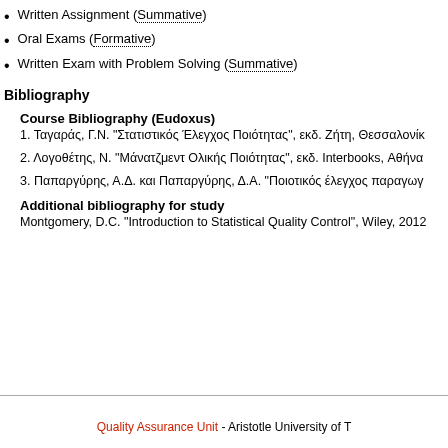Written Assignment (Summative)
Oral Exams (Formative)
Written Exam with Problem Solving (Summative)
Bibliography
Course Bibliography (Eudoxus)
1. Ταγαράς, Γ.Ν. "Στατιστικός Έλεγχος Ποιότητας", εκδ. Ζήτη, Θεσσαλονίκ
2. Λογοθέτης, Ν. "Μάνατζμεντ Ολικής Ποιότητας", εκδ. Interbooks, Αθήνα
3. Παπαργύρης, Α.Δ. και Παπαργύρης, Δ.Α. "Ποιοτικός έλεγχος παραγωγ
Additional bibliography for study
Montgomery, D.C. "Introduction to Statistical Quality Control", Wiley, 2012
Quality Assurance Unit - Aristotle University of T